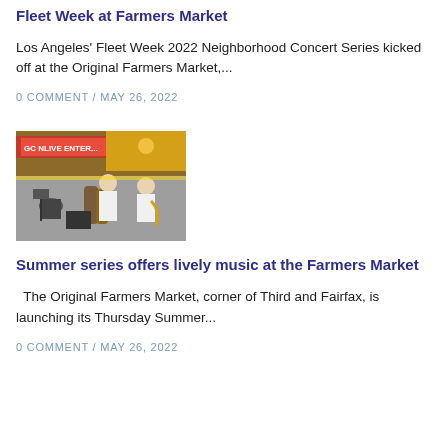Fleet Week at Farmers Market
Los Angeles' Fleet Week 2022 Neighborhood Concert Series kicked off at the Original Farmers Market,...
0 COMMENT / MAY 26, 2022
[Figure (photo): Musicians performing on stage at the Original Farmers Market, with colorful signage and lighting in the background. A band plays various instruments including saxophone and percussion.]
Summer series offers lively music at the Farmers Market
The Original Farmers Market, corner of Third and Fairfax, is launching its Thursday Summer...
0 COMMENT / MAY 26, 2022